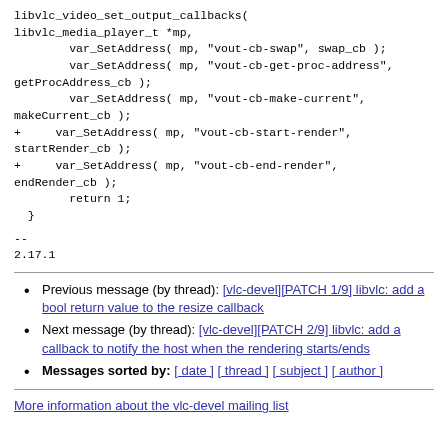libvlc_video_set_output_callbacks(
libvlc_media_player_t *mp,
        var_SetAddress( mp, "vout-cb-swap", swap_cb );
        var_SetAddress( mp, "vout-cb-get-proc-address",
getProcAddress_cb );
        var_SetAddress( mp, "vout-cb-make-current",
makeCurrent_cb );
+     var_SetAddress( mp, "vout-cb-start-render",
startRender_cb );
+     var_SetAddress( mp, "vout-cb-end-render",
endRender_cb );
        return 1;
  }
--
2.17.1
Previous message (by thread): [vlc-devel][PATCH 1/9] libvlc: add a bool return value to the resize callback
Next message (by thread): [vlc-devel][PATCH 2/9] libvlc: add a callback to notify the host when the rendering starts/ends
Messages sorted by: [ date ] [ thread ] [ subject ] [ author ]
More information about the vlc-devel mailing list